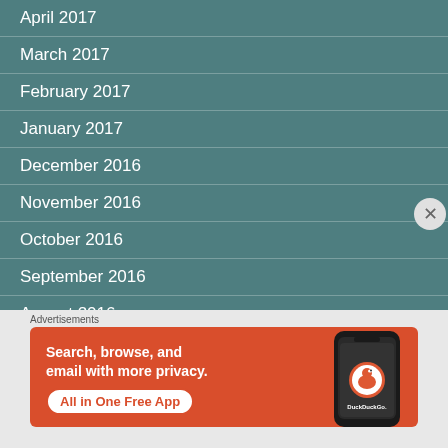April 2017
March 2017
February 2017
January 2017
December 2016
November 2016
October 2016
September 2016
August 2016
Advertisements
[Figure (other): DuckDuckGo advertisement banner with orange background showing text 'Search, browse, and email with more privacy. All in One Free App' with a phone displaying the DuckDuckGo app]